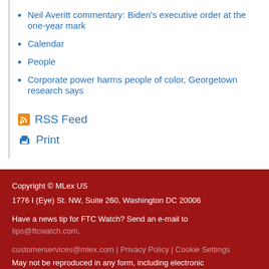Neil Averitt commentary: Biden's executive order at the one-year mark
Calendar
People
Corporate power harms people of color, Georgetown research says
RSS Feed
Print
Copyright © MLex US
1776 I (Eye) St. NW, Suite 260, Washington DC 20006

Have a news tip for FTC Watch? Send an e-mail to tips@ftcwatch.com.

customerservices@mlex.com | Privacy Policy | Cookie Settings
May not be reproduced in any form, including electronic retransmission.
Have a news tip for FTC Watch? Send an e-mail to tips@ftcwatch.com.

Connect with us: